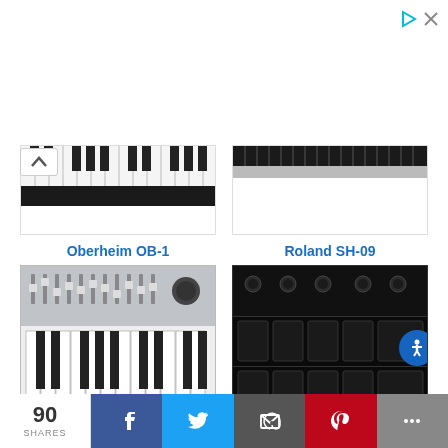[Figure (photo): Ad banner area at top with triangle play icon and X close icon in top right]
[Figure (photo): Partial photo of Oberheim OB-1 synthesizer keyboard top portion showing keys]
[Figure (photo): Partial photo of Roland SH-09 synthesizer top portion]
Oberheim OB-1
Roland SH-09
[Figure (photo): Photo of Roland SH-101 synthesizer, grey synth with keyboard and sliders]
[Figure (photo): Photo of Wine Country Sequential Pro synthesizer, dark synth with knobs and controls]
Roland SH-101
Wine Country Sequential Pro
90 SHARES  [Facebook] [Twitter] [Email] [Pinterest] [More]